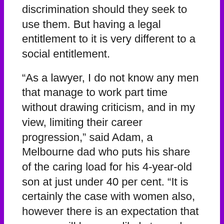discrimination should they seek to use them. But having a legal entitlement to it is very different to a social entitlement.
“As a lawyer, I do not know any men that manage to work part time without drawing criticism, and in my view, limiting their career progression,” said Adam, a Melbourne dad who puts his share of the caring load for his 4-year-old son at just under 40 per cent. “It is certainly the case with women also, however there is an expectation that women will be more likely to work part time and that men should ‘want’ to work full time.”
And just what is the source of this expectation? When asked in a HILDA study whether children do just as well if the mother earns the money and the father takes care of the home and children, only 50